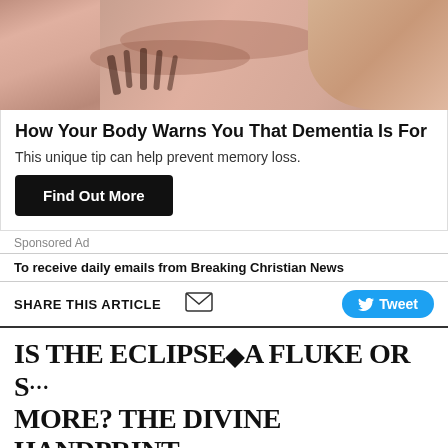[Figure (photo): Close-up photo of an eye with visible eyelashes and skin texture, pinkish tones]
How Your Body Warns You That Dementia Is For
This unique tip can help prevent memory loss.
Find Out More
Sponsored Ad
To receive daily emails from Breaking Christian News
SHARE THIS ARTICLE
Tweet
IS THE ECLIPSE◆A FLUKE OR S… MORE? THE DIVINE HANDPRINT… THIS SOLAR PHENOMENON
Paul Strand : Aug 21, 2017  CBN News